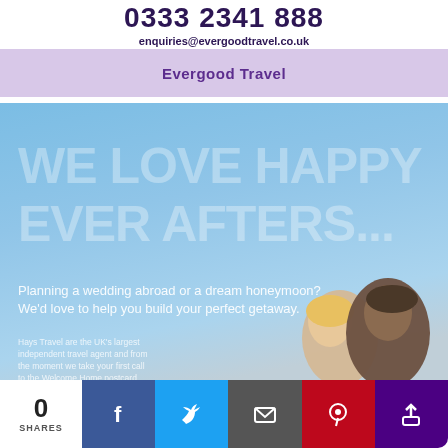0333 2341 888
enquiries@evergoodtravel.co.uk
Evergood Travel
[Figure (photo): Travel agency promotional banner with sky blue background showing large text 'WE LOVE HAPPY EVER AFTERS...' with subtext 'Planning a wedding abroad or a dream honeymoon? We'd love to help you build your perfect getaway.' and a couple in bottom right corner. Small text: 'Hays Travel are the UK's largest independent travel agent and from the moment we take your first call to the Welcome Home postcard']
0 SHARES | Facebook | Twitter | Email | Pinterest | Share